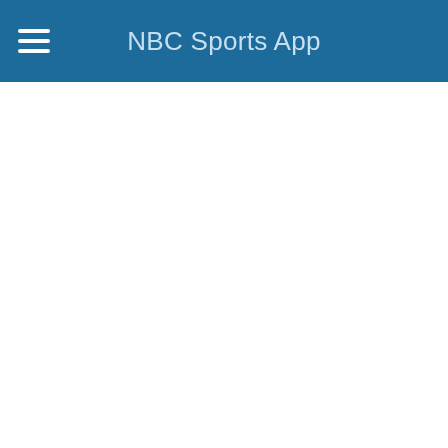NBC Sports App
[Figure (screenshot): Empty white content area below the NBC Sports App navigation bar]